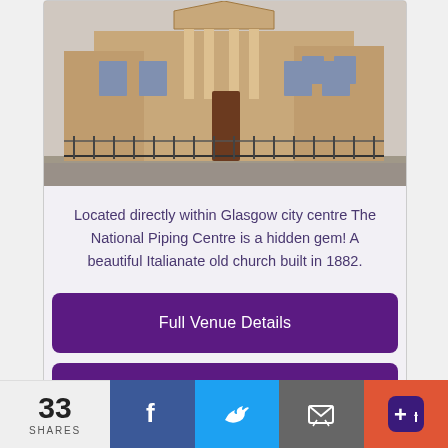[Figure (photo): Exterior photograph of The National Piping Centre, a sandstone Italianate building built in 1882, located in Glasgow city centre. Iron fence in foreground.]
Located directly within Glasgow city centre The National Piping Centre is a hidden gem! A beautiful Italianate old church built in 1882.
Full Venue Details
Offers & Availability
Knockderry Country House Hotel
33 SHARES